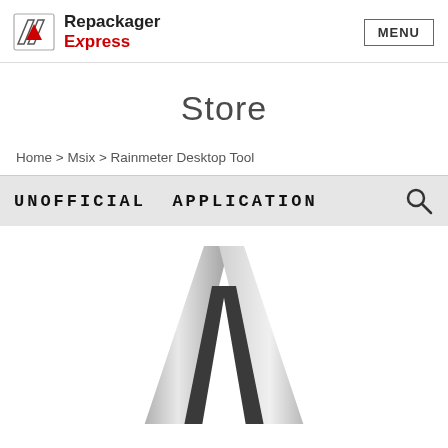Repackager Express | MENU
Store
Home > Msix > Rainmeter Desktop Tool
[Figure (screenshot): Product page screenshot showing 'UNOFFICIAL APPLICATION' banner with a search icon, and the Rainmeter logo (metallic triangular lambda symbol) below it.]